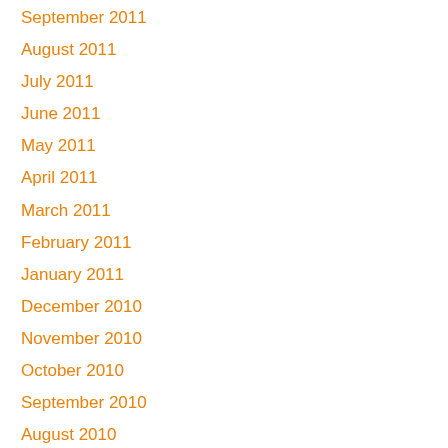September 2011
August 2011
July 2011
June 2011
May 2011
April 2011
March 2011
February 2011
January 2011
December 2010
November 2010
October 2010
September 2010
August 2010
July 2010